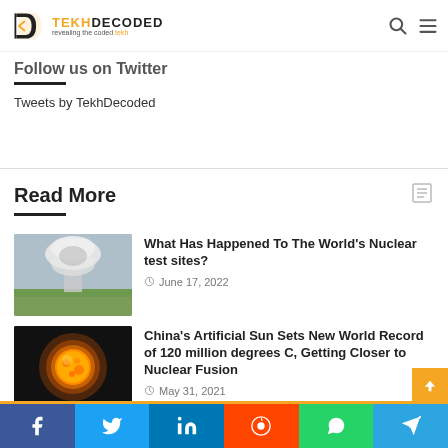TEKH DECODED – revealing the coded tekh
Follow us on Twitter
Tweets by TekhDecoded
Read More
[Figure (photo): Mushroom cloud from nuclear test over landscape]
What Has Happened To The World's Nuclear test sites?
June 17, 2022
[Figure (photo): Glowing artificial sun ball of fire on black background]
China's Artificial Sun Sets New World Record of 120 million degrees C, Getting Closer to Nuclear Fusion
May 31, 2021
Facebook | Twitter | LinkedIn | Reddit | WhatsApp | Telegram